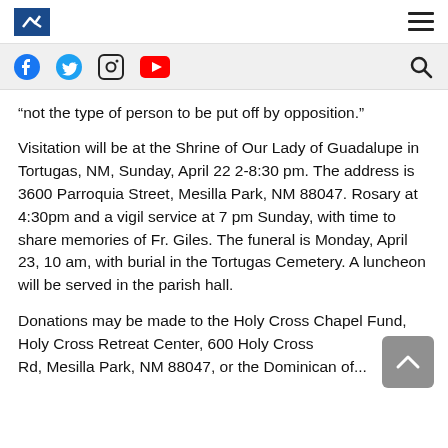Logo and hamburger menu navigation bar
Social media icons: Facebook, Twitter, Instagram, YouTube; Search icon
“not the type of person to be put off by opposition.”
Visitation will be at the Shrine of Our Lady of Guadalupe in Tortugas, NM, Sunday, April 22 2-8:30 pm. The address is 3600 Parroquia Street, Mesilla Park, NM 88047. Rosary at 4:30pm and a vigil service at 7 pm Sunday, with time to share memories of Fr. Giles. The funeral is Monday, April 23, 10 am, with burial in the Tortugas Cemetery. A luncheon will be served in the parish hall.
Donations may be made to the Holy Cross Chapel Fund, Holy Cross Retreat Center, 600 Holy Cross Rd, Mesilla Park, NM 88047, or the Dominican of...